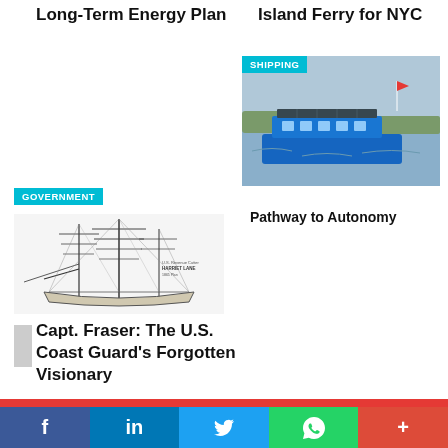Long-Term Energy Plan
Island Ferry for NYC
[Figure (photo): A blue autonomous ferry vessel on open water with the SHIPPING category label overlay]
Pathway to Autonomy
SHIPPING
GOVERNMENT
[Figure (illustration): Black and white technical line drawing of a tall ship (U.S. Revenue Cutter Harriet Lane) with masts and rigging, labeled with ship name text]
Capt. Fraser: The U.S. Coast Guard's Forgotten Visionary